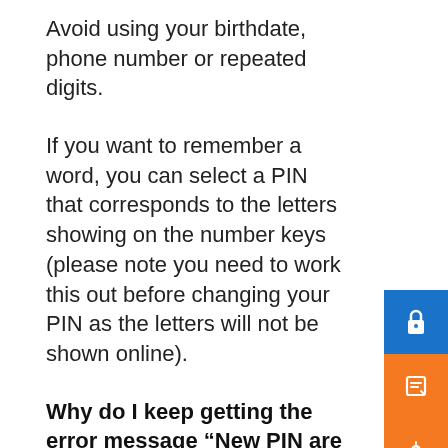Avoid using your birthdate, phone number or repeated digits.
If you want to remember a word, you can select a PIN that corresponds to the letters showing on the number keys (please note you need to work this out before changing your PIN as the letters will not be shown online).
Why do I keep getting the error message “New PIN are not the same”?
Make sure you are selecting your PIN by numbers, not pattern, as the numbers are in a different location every time. This may seem odd, but it is a security measure. This is to prevent mouse clicks being ‘tracked’ by software that may enable a scammer to know your PIN.